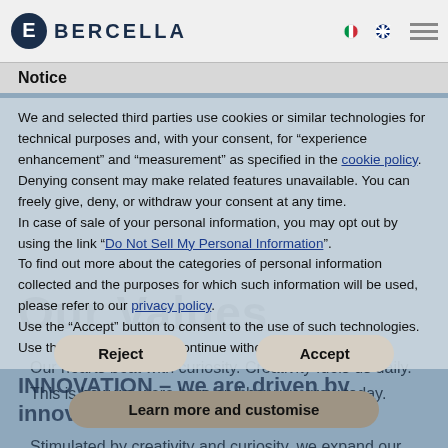BERCELLA
Notice
We and selected third parties use cookies or similar technologies for technical purposes and, with your consent, for “experience enhancement” and “measurement” as specified in the cookie policy. Denying consent may make related features unavailable. You can freely give, deny, or withdraw your consent at any time. In case of sale of your personal information, you may opt out by using the link “Do Not Sell My Personal Information”. To find out more about the categories of personal information collected and the purposes for which such information will be used, please refer to our privacy policy. Use the “Accept” button to consent to the use of such technologies. Use the “Reject” button to continue without accepting.
Our Values
INNOVATION – we are driven by innovation
Our hearts beat with curiosity. Creativity fuels us daily. This is how we were born and how we grow today.
Stimulated by creativity and curiosity, we expand our know-how of composite materials, process and